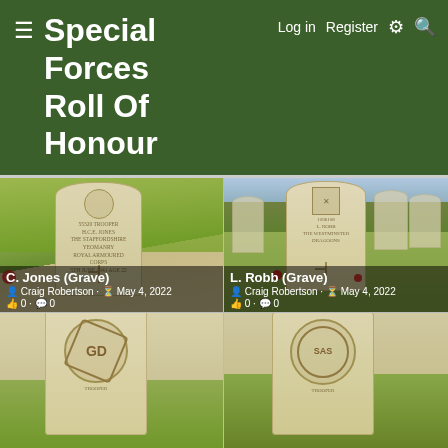Special Forces Roll Of Honour — Log in  Register
[Figure (photo): Gravestone photo for C. Jones in a military cemetery, with green grass background]
C. Jones (Grave)
Craig Robertson · May 4, 2022
0 · 0
[Figure (photo): Gravestone photo for L. Robb in a military cemetery with multiple headstones and trees in background]
L. Robb (Grave)
Craig Robertson · May 4, 2022
0 · 0
[Figure (photo): Partial gravestone photo showing regimental emblem, bottom row left]
[Figure (photo): Partial gravestone photo showing regimental emblem, bottom row right]